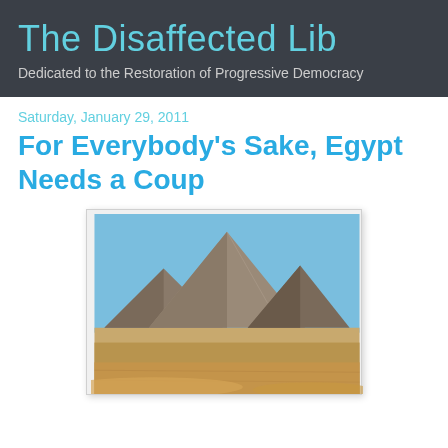The Disaffected Lib
Dedicated to the Restoration of Progressive Democracy
Saturday, January 29, 2011
For Everybody's Sake, Egypt Needs a Coup
[Figure (photo): Photograph of the Egyptian pyramids at Giza with blue sky and sandy desert in the foreground]